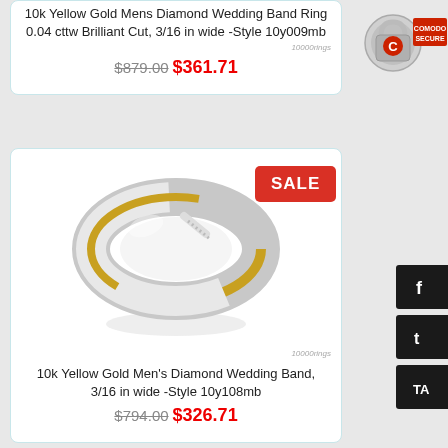10k Yellow Gold Mens Diamond Wedding Band Ring 0.04 cttw Brilliant Cut, 3/16 in wide -Style 10y009mb
$879.00 $361.71
[Figure (logo): Comodo Secure badge with padlock icon]
[Figure (photo): 10k Yellow Gold Men's Diamond Wedding Band ring with white gold rhodium plating and yellow gold band, showing small diamond accents, with SALE badge]
10k Yellow Gold Men's Diamond Wedding Band, 3/16 in wide -Style 10y108mb
$794.00 $326.71